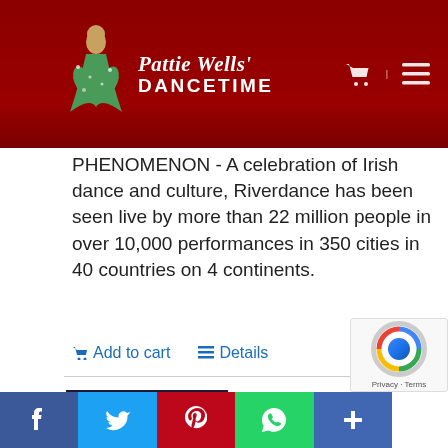Pattie Wells' DANCETIME
PHENOMENON - A celebration of Irish dance and culture, Riverdance has been seen live by more than 22 million people in over 10,000 performances in 350 cities in 40 countries on 4 continents.
Add to cart   Details
Nightclub Two Step vol 1 – Learn the Basics & More (Night Club Dance Lessons DVD)